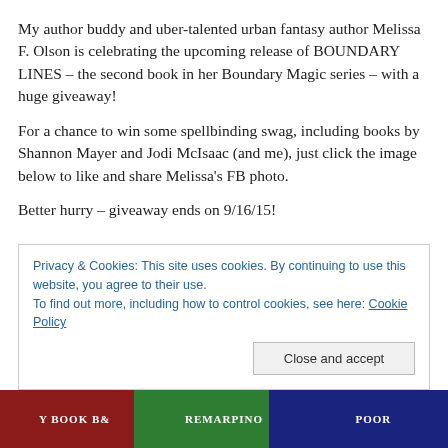My author buddy and uber-talented urban fantasy author Melissa F. Olson is celebrating the upcoming release of BOUNDARY LINES – the second book in her Boundary Magic series – with a huge giveaway!
For a chance to win some spellbinding swag, including books by Shannon Mayer and Jodi McIsaac (and me), just click the image below to like and share Melissa's FB photo.
Better hurry – giveaway ends on 9/16/15!
Privacy & Cookies: This site uses cookies. By continuing to use this website, you agree to their use. To find out more, including how to control cookies, see here: Cookie Policy
[Figure (photo): Bottom strip showing book covers partially visible]